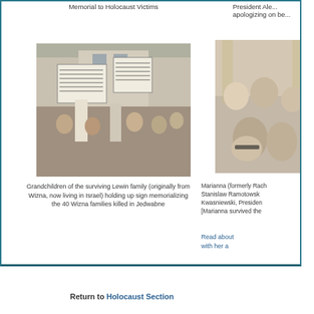Memorial to Holocaust Victims
President Ale... apologizing on be...
[Figure (photo): Grandchildren of the surviving Lewin family holding up signs at a memorial protest. People in crowd holding large signs with text, outdoors in front of a building.]
[Figure (photo): Marianna (formerly Rach...) Stanislaw Ramotowsk... Kwasniewski, Presiden... [Marianna survived the...]  - partial photo of group of people indoors]
Grandchildren of the surviving Lewin family (originally from Wizna, now living in Israel) holding up sign memorializing the 40 Wizna families killed in Jedwabne
Marianna (formerly Rach Stanislaw Ramotowsk Kwasniewski, Presiden [Marianna survived the
Read about with her a
Return to Holocaust Section